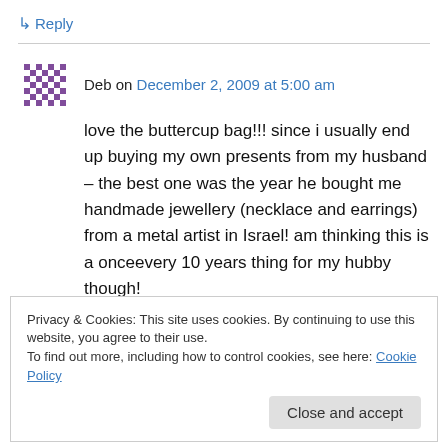↳ Reply
Deb on December 2, 2009 at 5:00 am
love the buttercup bag!!! since i usually end up buying my own presents from my husband – the best one was the year he bought me handmade jewellery (necklace and earrings) from a metal artist in Israel! am thinking this is a onceevery 10 years thing for my hubby though!
Privacy & Cookies: This site uses cookies. By continuing to use this website, you agree to their use. To find out more, including how to control cookies, see here: Cookie Policy
Close and accept